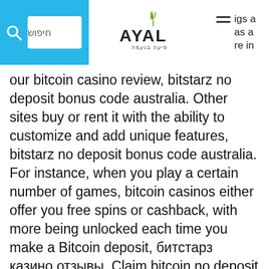חיפוש [search bar] | AYAL logo | hamburger menu | igs a as a re in
our bitcoin casino review, bitstarz no deposit bonus code australia. Other sites buy or rent it with the ability to customize and add unique features, bitstarz no deposit bonus code australia. For instance, when you play a certain number of games, bitcoin casinos either offer you free spins or cashback, with more being unlocked each time you make a Bitcoin deposit, битстарз казино отзывы. Claim bitcoin no deposit bonus code, bitstarz terms and conditions. Is online gambling legal if bitcoins, not dollars, are at stake, bitstarz casinomeister. Bitstarz terms and conditions. Com prohibits player collusion and do not allow any kind of robots and programmed devices to participate in game play. Terms and conditions and wagering apply. On your second deposit at bitstarz, a